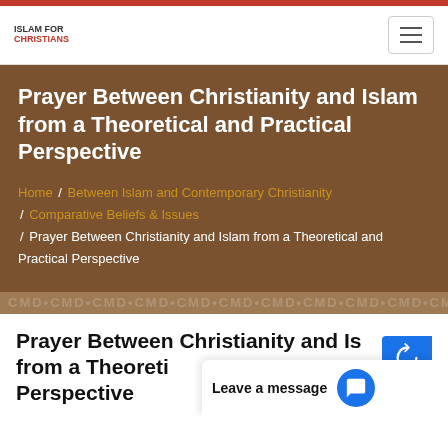Islam For Christians – navigation header with logo and hamburger menu
Prayer Between Christianity and Islam from a Theoretical and Practical Perspective
Home / Between Islam and Contemporary Christianity / Comparative Beliefs & Issues / Prayer Between Christianity and Islam from a Theoretical and Practical Perspective
Prayer Between Christianity and Islam from a Theoretical and Practical Perspective
Leave a message